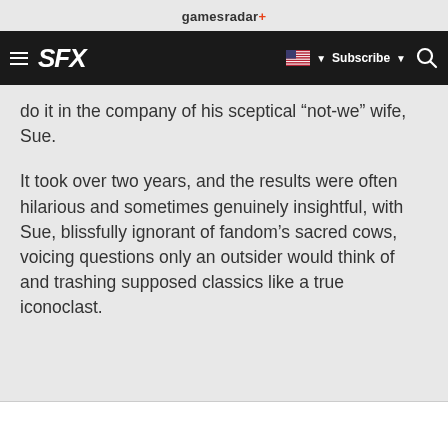gamesradar+
SFX  [flag] Subscribe  [search]
do it in the company of his sceptical “not-we” wife, Sue.
It took over two years, and the results were often hilarious and sometimes genuinely insightful, with Sue, blissfully ignorant of fandom’s sacred cows, voicing questions only an outsider would think of and trashing supposed classics like a true iconoclast.